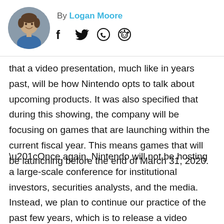[Figure (photo): Circular profile photo of Logan Moore, a young man smiling]
By Logan Moore
[Figure (infographic): Social media share icons: Facebook, Twitter, WhatsApp, Reddit]
that a video presentation, much like in years past, will be how Nintendo opts to talk about upcoming products. It was also specified that during this showing, the company will be focusing on games that are launching within the current fiscal year. This means games that will be launching before the end of March 31, 2020.
“Once again, Nintendo will not be hosting a large-scale conference for institutional investors, securities analysts, and the media. Instead, we plan to continue our practice of the past few years, which is to release a video presentation discussing the games that are planned for